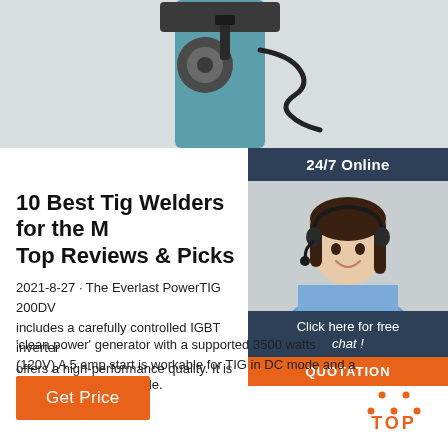[Figure (photo): Photo of a TIG welder machine (industrial equipment, teal/blue color with cable)]
[Figure (photo): Sidebar: 24/7 Online chat support representative, woman with headset smiling]
10 Best Tig Welders for the M Top Reviews & Picks
2021-8-27 · The Everlast PowerTIG 200DV includes a carefully controlled IGBT inverter offers a high-performance quality. It is also g 'clean power' generator with a supported 3500 watts (120V) A 5 amp start is workable for TIG in DC mode and a 20 amp start in AC mode.
[Figure (logo): TOP logo in orange with dotted triangle above]
Get Price